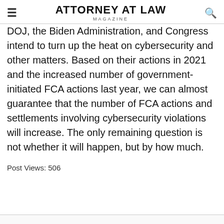ATTORNEY AT LAW MAGAZINE
DOJ, the Biden Administration, and Congress intend to turn up the heat on cybersecurity and other matters. Based on their actions in 2021 and the increased number of government-initiated FCA actions last year, we can almost guarantee that the number of FCA actions and settlements involving cybersecurity violations will increase. The only remaining question is not whether it will happen, but by how much.
Post Views: 506